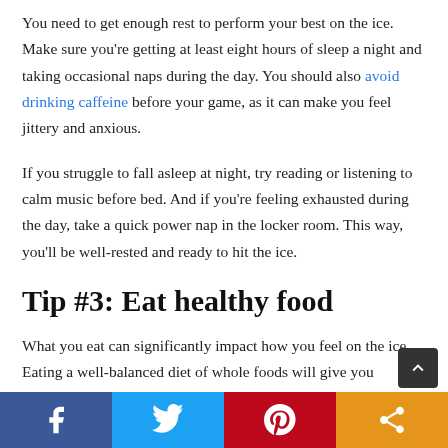You need to get enough rest to perform your best on the ice. Make sure you're getting at least eight hours of sleep a night and taking occasional naps during the day. You should also avoid drinking caffeine before your game, as it can make you feel jittery and anxious.
If you struggle to fall asleep at night, try reading or listening to calm music before bed. And if you're feeling exhausted during the day, take a quick power nap in the locker room. This way, you'll be well-rested and ready to hit the ice.
Tip #3: Eat healthy food
What you eat can significantly impact how you feel on the ice. Eating a well-balanced diet of whole foods will give you sustained energy throughout the game, whereas eating processed foods will make you feel sluggish.